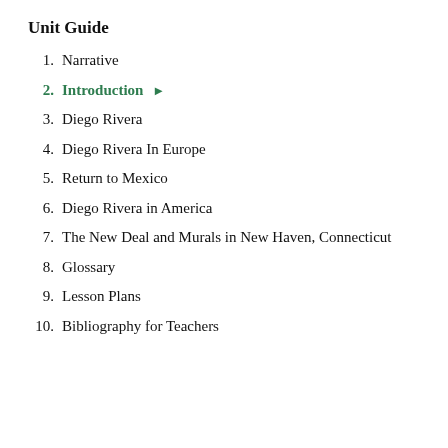Unit Guide
1. Narrative
2. Introduction
3. Diego Rivera
4. Diego Rivera In Europe
5. Return to Mexico
6. Diego Rivera in America
7. The New Deal and Murals in New Haven, Connecticut
8. Glossary
9. Lesson Plans
10. Bibliography for Teachers